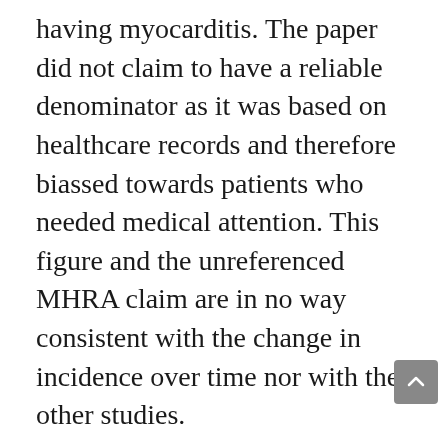having myocarditis. The paper did not claim to have a reliable denominator as it was based on healthcare records and therefore biassed towards patients who needed medical attention. This figure and the unreferenced MHRA claim are in no way consistent with the change in incidence over time nor with the other studies.
The background rate is up to 8 per million per 28 days. The rate in the uninfected unvaccinated was similar. The unvaccinated infected rate was calculated separately on three occasions with measures ranging from